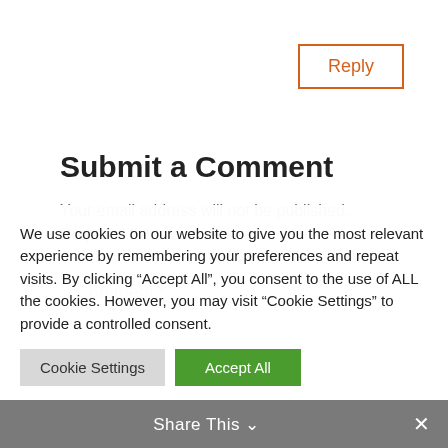Reply
Submit a Comment
Your email address will not be published.
Required fields are marked *
Comment *
We use cookies on our website to give you the most relevant experience by remembering your preferences and repeat visits. By clicking “Accept All”, you consent to the use of ALL the cookies. However, you may visit "Cookie Settings" to provide a controlled consent.
Cookie Settings
Accept All
Share This ∨ ×